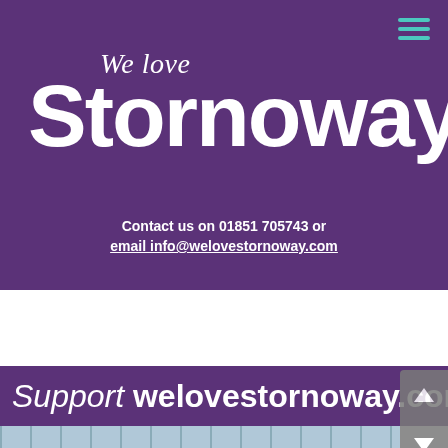We love Stornoway
Contact us on 01851 705743 or email info@welovestornoway.com
Support welovestornoway.com
[Figure (photo): Bottom strip showing partial photo of a building or structure]